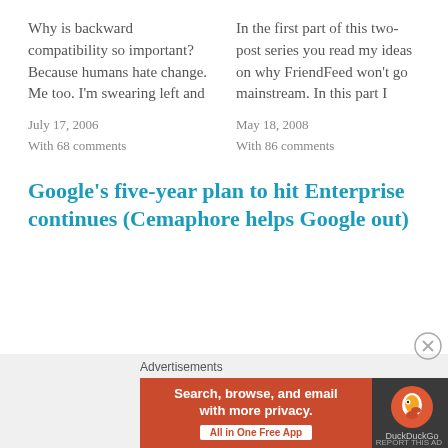Why is backward compatibility so important? Because humans hate change. Me too. I'm swearing left and
In the first part of this two-post series you read my ideas on why FriendFeed won't go mainstream. In this part I
July 17, 2006
With 68 comments
May 18, 2008
With 86 comments
Google's five-year plan to hit Enterprise continues (Cemaphore helps Google out)
[Figure (screenshot): DuckDuckGo advertisement banner: orange left section with text 'Search, browse, and email with more privacy. All in One Free App' and dark right section with DuckDuckGo duck logo]
Advertisements